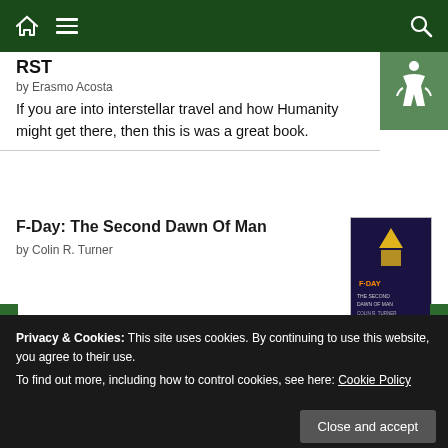Navigation bar with home, menu, and search icons
by Erasmo Acosta
If you are into interstellar travel and how Humanity might get there, then this is was a great book.
F-Day: The Second Dawn Of Man
by Colin R. Turner
A Test of Courage
by Justina Ireland
Privacy & Cookies: This site uses cookies. By continuing to use this website, you agree to their use.
To find out more, including how to control cookies, see here: Cookie Policy
Close and accept